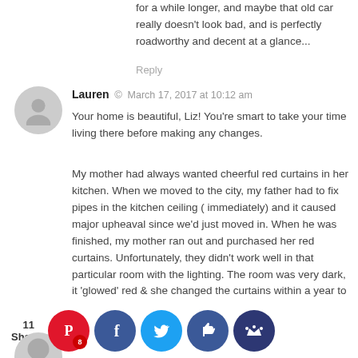for a while longer, and maybe that old car really doesn't look bad, and is perfectly roadworthy and decent at a glance...
Reply
Lauren · March 17, 2017 at 10:12 am
Your home is beautiful, Liz! You're smart to take your time living there before making any changes.
My mother had always wanted cheerful red curtains in her kitchen. When we moved to the city, my father had to fix pipes in the kitchen ceiling ( immediately) and it caused major upheaval since we'd just moved in. When he was finished, my mother ran out and purchased her red curtains. Unfortunately, they didn't work well in that particular room with the lighting. The room was very dark, it 'glowed' red & she changed the curtains within a year to a cheerful yellow that brightened up the dark room. If she had waited a few months, she'd have known the room tended to be dark.
Reply
11 Shares